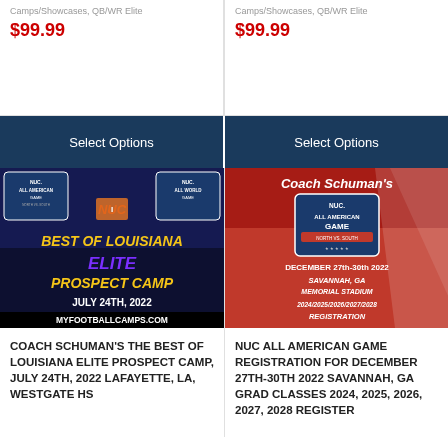Camps/Showcases, QB/WR Elite
$99.99
Camps/Showcases, QB/WR Elite
$99.99
Select Options
Select Options
[Figure (photo): NUC All American Game / All World logos with Best of Louisiana Elite Prospect Camp, July 24th 2022, myfootballcamps.com banner]
[Figure (photo): Coach Schuman's NUC All American Game December 27th-30th 2022, Savannah GA, Memorial Stadium, registration flyer]
COACH SCHUMAN'S THE BEST OF LOUISIANA ELITE PROSPECT CAMP, JULY 24TH, 2022 LAFAYETTE, LA, WESTGATE HS
NUC ALL AMERICAN GAME REGISTRATION FOR DECEMBER 27TH-30TH 2022 SAVANNAH, GA GRAD CLASSES 2024, 2025, 2026, 2027, 2028 REGISTER